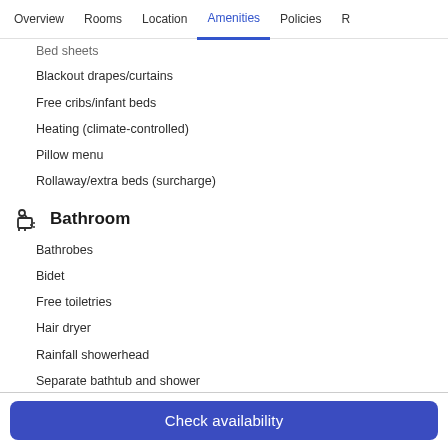Overview  Rooms  Location  Amenities  Policies  R
Bed sheets
Blackout drapes/curtains
Free cribs/infant beds
Heating (climate-controlled)
Pillow menu
Rollaway/extra beds (surcharge)
Bathroom
Bathrobes
Bidet
Free toiletries
Hair dryer
Rainfall showerhead
Separate bathtub and shower
Check availability